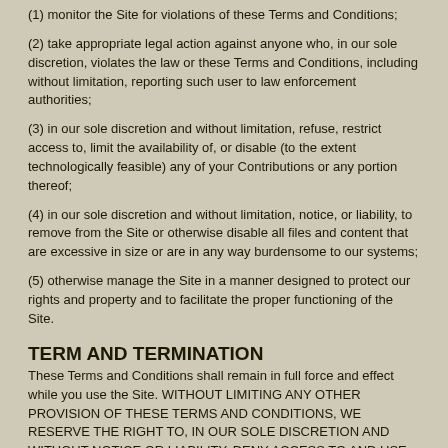(1) monitor the Site for violations of these Terms and Conditions;
(2) take appropriate legal action against anyone who, in our sole discretion, violates the law or these Terms and Conditions, including without limitation, reporting such user to law enforcement authorities;
(3) in our sole discretion and without limitation, refuse, restrict access to, limit the availability of, or disable (to the extent technologically feasible) any of your Contributions or any portion thereof;
(4) in our sole discretion and without limitation, notice, or liability, to remove from the Site or otherwise disable all files and content that are excessive in size or are in any way burdensome to our systems;
(5) otherwise manage the Site in a manner designed to protect our rights and property and to facilitate the proper functioning of the Site.
TERM AND TERMINATION
These Terms and Conditions shall remain in full force and effect while you use the Site. WITHOUT LIMITING ANY OTHER PROVISION OF THESE TERMS AND CONDITIONS, WE RESERVE THE RIGHT TO, IN OUR SOLE DISCRETION AND WITHOUT NOTICE OR LIABILITY, DENY ACCESS TO AND USE OF THE SITE (INCLUDING BLOCKING CERTAIN IP ADDRESSES), TO ANY PERSON FOR ANY REASON OR FOR NO REASON, INCLUDING WITHOUT LIMITATION FOR BREACH OF ANY REPRESENTATION, WARRANTY, OR COVENANT CONTAINED IN THESE TERMS AND CONDITIONS OR OF ANY APPLICABLE LAW OR REGULATION. WE MAY TERMINATE YOUR USE OR PARTICIPATION IN THE SITE OR DELETE [YOUR ACCOUNT AND] ANY CONTENT OR